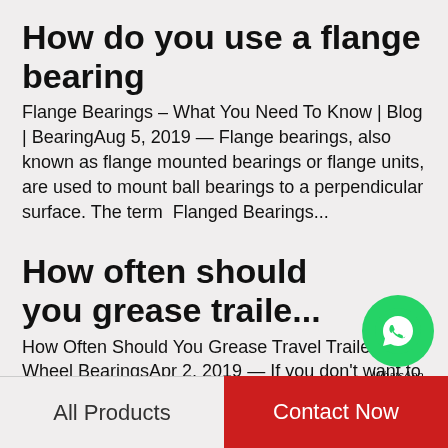How do you use a flange bearing
Flange Bearings – What You Need To Know | Blog | BearingAug 5, 2019 — Flange bearings, also known as flange mounted bearings or flange units, are used to mount ball bearings to a perpendicular surface. The term  Flanged Bearings...
How often should you grease traile...
[Figure (logo): WhatsApp green circle logo with phone icon and text 'WhatsApp Online']
How Often Should You Grease Travel Trailer Wheel BearingsApr 2, 2019 — If you don't want to ask the service department, I suggest having the wheel bearings checked every 10,000 to 12,000 miles or so by a service  How Often Should You...
What type...   ball bearin...
All Products   Contact Now